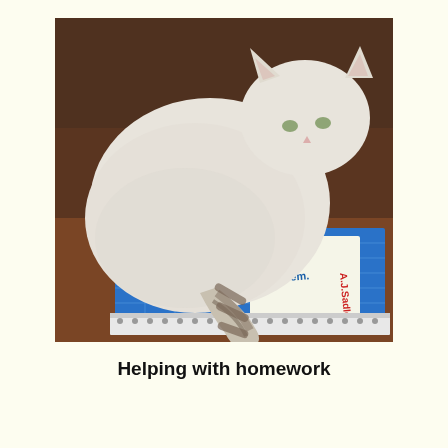[Figure (photo): A light-colored cat (Siamese or similar breed) curled up and sitting on top of a blue mathematics textbook (Specialist Mathematics by A.J. Sadler) and a spiral notebook, placed on a wooden table. The cat has a striped tail and appears relaxed or sleepy.]
Helping with homework